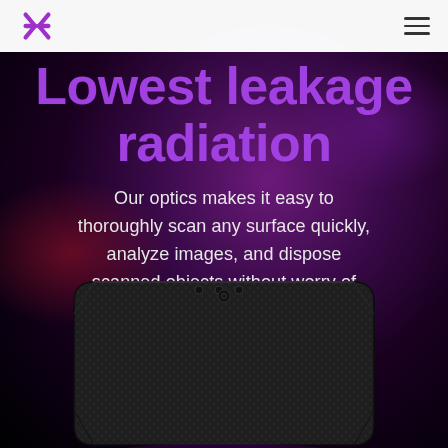Navigation bar with logo and hamburger menu
Lowest leakage radiation
Our optics makes it easy to thoroughly scan any surface quickly, analyze images, and dispose scanned objects without worry of high doses of radiation to oneself.
[Figure (photo): Dark carbon-fiber textured rectangular device (X-ray scanner) viewed from top, with small sensor dots on the top edge, shown against a dark purple gradient background.]